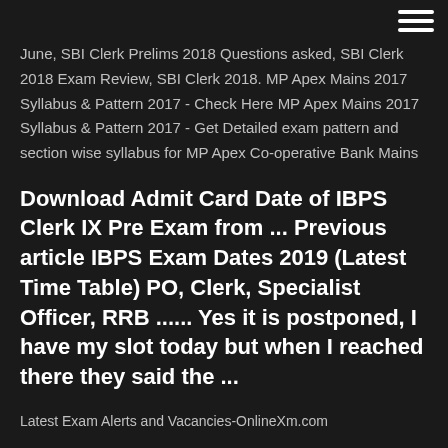June, SBI Clerk Prelims 2018 Questions asked, SBI Clerk 2018 Exam Review, SBI Clerk 2018. MP Apex Mains 2017 Syllabus & Pattern 2017 - Check Here MP Apex Mains 2017 Syllabus & Pattern 2017 - Get Detailed exam pattern and section wise syllabus for MP Apex Co-operative Bank Mains
Download Admit Card Date of IBPS Clerk IX Pre Exam from ... Previous article IBPS Exam Dates 2019 (Latest Time Table) PO, Clerk, Specialist Officer, RRB ...... Yes it is postponed, I have my slot today but when I reached there they said the ...
Latest Exam Alerts and Vacancies-OnlineXm.com
Candidates who have registered themselves for IBPS PO recruitment 2017, can go through the direct link to